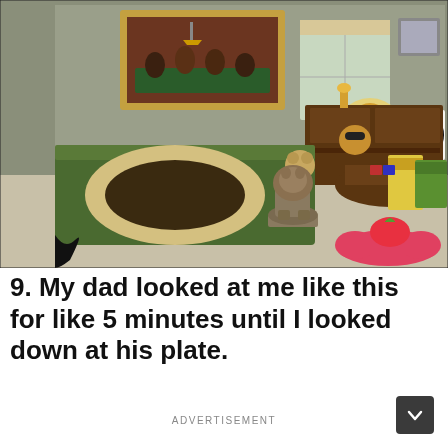[Figure (photo): A decorated room set up for a dog, with a green couch/bed, a large round dog bed, a wooden desk/shelf unit with trophies and a dog wearing headphones, a painting of dogs playing poker on the wall, dog food bags (Darling brand), a bronze bulldog statue in the center, dog-themed wall art, and a bone-shaped rug. The room has dog-themed decorations throughout.]
9. My dad looked at me like this for like 5 minutes until I looked down at his plate.
ADVERTISEMENT